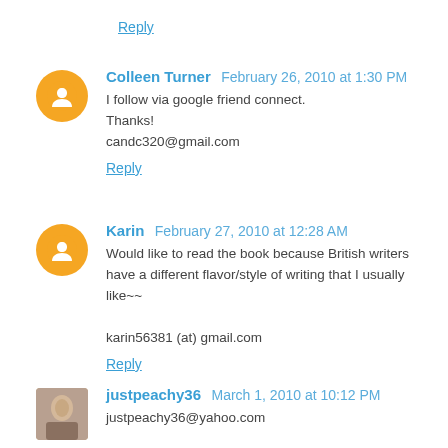Reply
Colleen Turner  February 26, 2010 at 1:30 PM
I follow via google friend connect.
Thanks!
candc320@gmail.com
Reply
Karin  February 27, 2010 at 12:28 AM
Would like to read the book because British writers have a different flavor/style of writing that I usually like~~

karin56381 (at) gmail.com
Reply
justpeachy36  March 1, 2010 at 10:12 PM
justpeachy36@yahoo.com